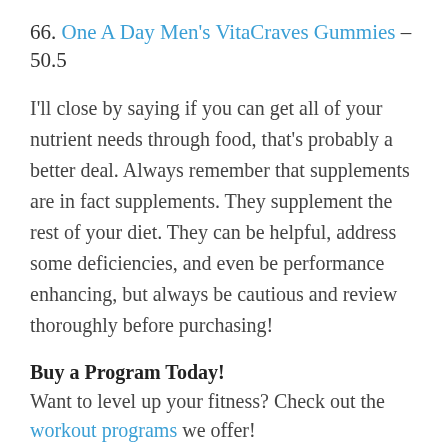66. One A Day Men's VitaCraves Gummies – 50.5
I'll close by saying if you can get all of your nutrient needs through food, that's probably a better deal. Always remember that supplements are in fact supplements. They supplement the rest of your diet. They can be helpful, address some deficiencies, and even be performance enhancing, but always be cautious and review thoroughly before purchasing!
Buy a Program Today!
Want to level up your fitness? Check out the workout programs we offer!